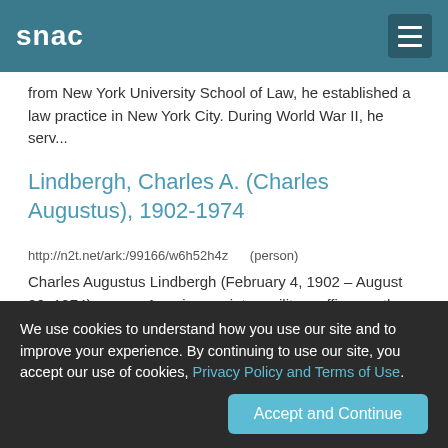snac
from New York University School of Law, he established a law practice in New York City. During World War II, he serv...
Lindbergh, Charles A. (Charles Augustus), 1902-1974
http://n2t.net/ark:/99166/w6h52h4z    (person)
Charles Augustus Lindbergh (February 4, 1902 – August 26, 1974) was an American aviator, military officer, author, inventor, and activist. At the age of 25 in 1927, he went from obscurity as a U.S. Air Mail pilot to instantaneous world fame by winning the Orteig Prize for making a nonstop flight from New York City to Paris. Lindbergh covered the 33 1⁄2-hour, 3,600-statute-mile (5,800 km) flight alone in a purpose-built, single-engine Ryan monoplane, the Spirit of St. Louis. While the first non...
We use cookies to understand how you use our site and to improve your experience. By continuing to use our site, you accept our use of cookies, Privacy Policy and Terms of Use.